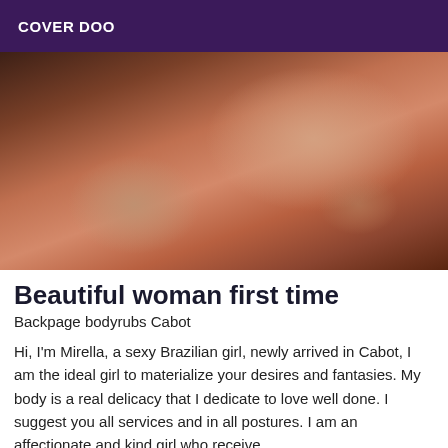COVER DOO
[Figure (photo): Close-up photo of a woman's body in intimate pose on a bed, warm brown tones]
Beautiful woman first time
Backpage bodyrubs Cabot
Hi, I'm Mirella, a sexy Brazilian girl, newly arrived in Cabot, I am the ideal girl to materialize your desires and fantasies. My body is a real delicacy that I dedicate to love well done. I suggest you all services and in all postures. I am an affectionate and kind girl who receive